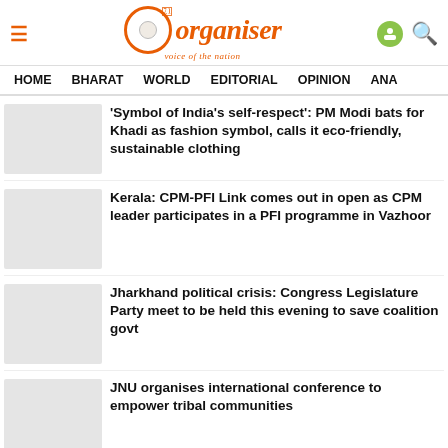Organiser – voice of the nation
HOME  BHARAT  WORLD  EDITORIAL  OPINION  ANA
'Symbol of India's self-respect': PM Modi bats for Khadi as fashion symbol, calls it eco-friendly, sustainable clothing
Kerala: CPM-PFI Link comes out in open as CPM leader participates in a PFI programme in Vazhoor
Jharkhand political crisis: Congress Legislature Party meet to be held this evening to save coalition govt
JNU organises international conference to empower tribal communities